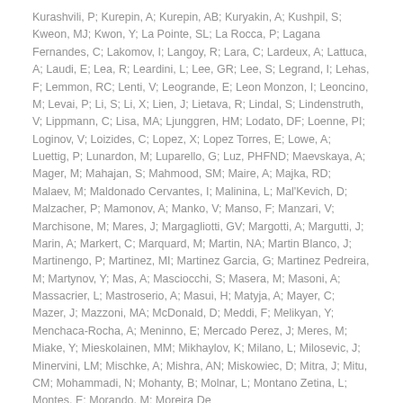Kurashvili, P; Kurepin, A; Kurepin, AB; Kuryakin, A; Kushpil, S; Kweon, MJ; Kwon, Y; La Pointe, SL; La Rocca, P; Lagana Fernandes, C; Lakomov, I; Langoy, R; Lara, C; Lardeux, A; Lattuca, A; Laudi, E; Lea, R; Leardini, L; Lee, GR; Lee, S; Legrand, I; Lehas, F; Lemmon, RC; Lenti, V; Leogrande, E; Leon Monzon, I; Leoncino, M; Levai, P; Li, S; Li, X; Lien, J; Lietava, R; Lindal, S; Lindenstruth, V; Lippmann, C; Lisa, MA; Ljunggren, HM; Lodato, DF; Loenne, PI; Loginov, V; Loizides, C; Lopez, X; Lopez Torres, E; Lowe, A; Luettig, P; Lunardon, M; Luparello, G; Luz, PHFND; Maevskaya, A; Mager, M; Mahajan, S; Mahmood, SM; Maire, A; Majka, RD; Malaev, M; Maldonado Cervantes, I; Malinina, L; Mal'Kevich, D; Malzacher, P; Mamonov, A; Manko, V; Manso, F; Manzari, V; Marchisone, M; Mares, J; Margagliotti, GV; Margotti, A; Margutti, J; Marin, A; Markert, C; Marquard, M; Martin, NA; Martin Blanco, J; Martinengo, P; Martinez, MI; Martinez Garcia, G; Martinez Pedreira, M; Martynov, Y; Mas, A; Masciocchi, S; Masera, M; Masoni, A; Massacrier, L; Mastroserio, A; Masui, H; Matyja, A; Mayer, C; Mazer, J; Mazzoni, MA; McDonald, D; Meddi, F; Melikyan, Y; Menchaca-Rocha, A; Meninno, E; Mercado Perez, J; Meres, M; Miake, Y; Mieskolainen, MM; Mikhaylov, K; Milano, L; Milosevic, J; Minervini, LM; Mischke, A; Mishra, AN; Miskowiec, D; Mitra, J; Mitu, CM; Mohammadi, N; Mohanty, B; Molnar, L; Montano Zetina, L; Montes, E; Morando, M; Moreira De